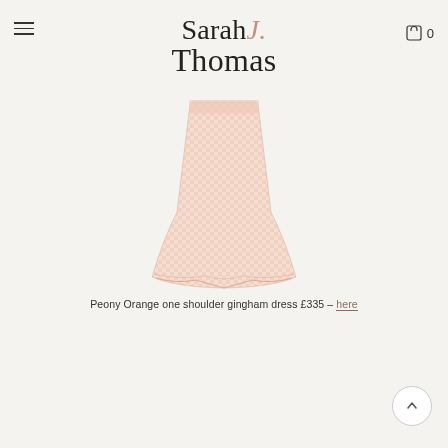Sarah J. Thomas
[Figure (photo): A peony orange one shoulder gingham dress, light peachy-cream color with a subtle check/gingham pattern, shown as a mini skirt shape with a flared silhouette on a light background.]
Peony Orange one shoulder gingham dress £335 – here